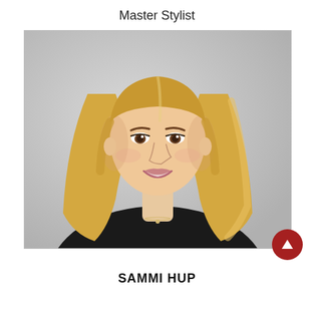Master Stylist
[Figure (photo): Professional headshot of a blonde woman in a black top, smiling, against a light gray background]
SAMMI HUP